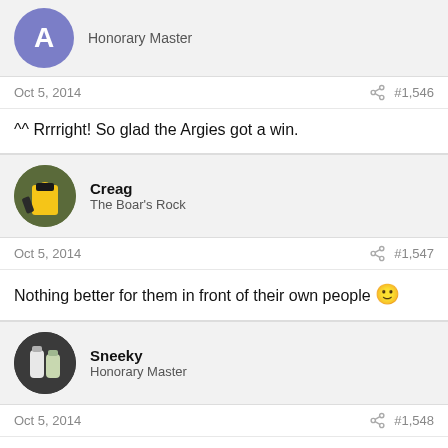[Figure (illustration): User avatar with letter A on purple circle, username area cut off at top]
Honorary Master
Oct 5, 2014   #1,546
^^ Rrrright! So glad the Argies got a win.
[Figure (photo): Creag user avatar showing a lego figure]
Creag
The Boar's Rock
Oct 5, 2014   #1,547
Nothing better for them in front of their own people 🙂
[Figure (photo): Sneeky user avatar showing bottles]
Sneeky
Honorary Master
Oct 5, 2014   #1,548
What a game yesterday.